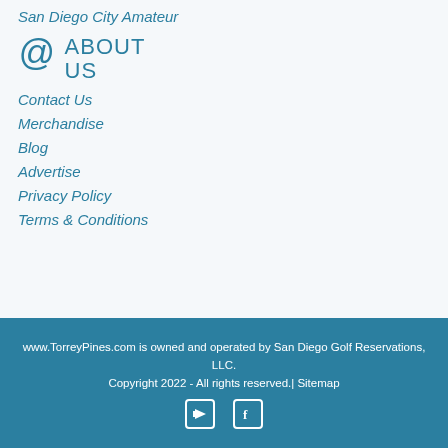San Diego City Amateur
ABOUT US
Contact Us
Merchandise
Blog
Advertise
Privacy Policy
Terms & Conditions
www.TorreyPines.com is owned and operated by San Diego Golf Reservations, LLC. Copyright 2022 - All rights reserved.| Sitemap